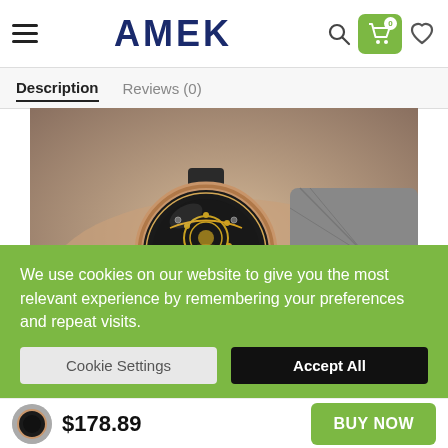AMEK — navigation header with hamburger menu, logo, search, cart (0), and heart icons
Description   Reviews (0)
[Figure (photo): Close-up photo of a man's wrist wearing a skeleton mechanical watch with rose gold case and leather strap, over a white shirt and grey suit jacket.]
We use cookies on our website to give you the most relevant experience by remembering your preferences and repeat visits.
Cookie Settings   Accept All
$178.89   BUY NOW